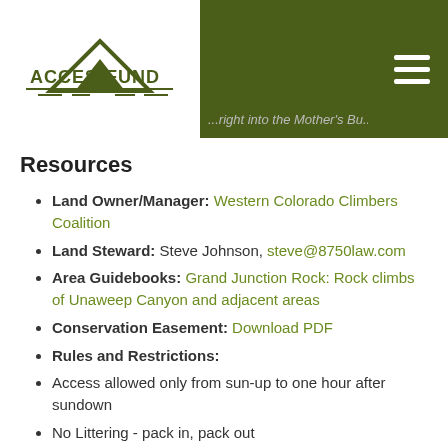AccessFund — [header image with text] right into the Mother's But...
Resources
Land Owner/Manager: Western Colorado Climbers Coalition
Land Steward: Steve Johnson, steve@8750law.com
Area Guidebooks: Grand Junction Rock: Rock climbs of Unaweep Canyon and adjacent areas
Conservation Easement: Download PDF
Rules and Restrictions:
Access allowed only from sun-up to one hour after sundown
No Littering - pack in, pack out
Commercial guiding/instruction requires prior approval